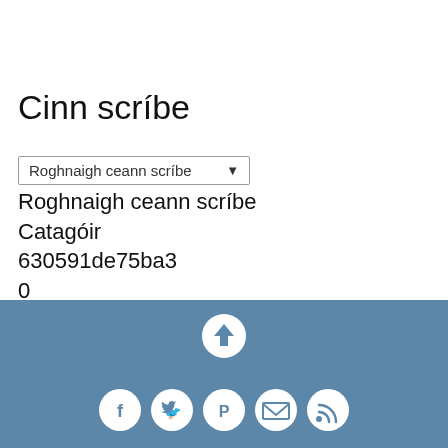Cinn scríbe
Roghnaigh ceann scríbe
Catagóir
630591de75ba3
0
0
Ag luchtú ....
[Figure (other): Footer bar with back-to-top button and social media icons (Facebook, Twitter, Pinterest, Email, RSS) on blue background]